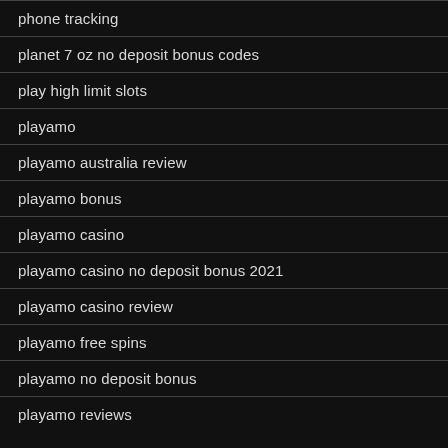phone tracking
planet 7 oz no deposit bonus codes
play high limit slots
playamo
playamo australia review
playamo bonus
playamo casino
playamo casino no deposit bonus 2021
playamo casino review
playamo free spins
playamo no deposit bonus
playamo reviews